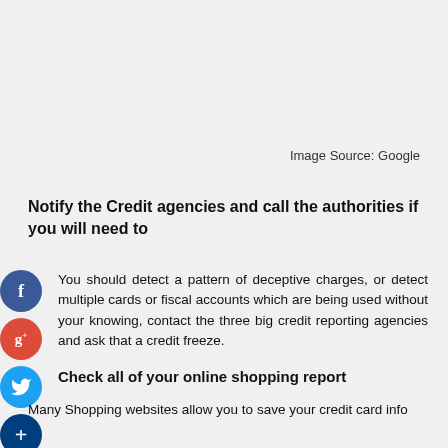Image Source: Google
Notify the Credit agencies and call the authorities if you will need to
You should detect a pattern of deceptive charges, or detect multiple cards or fiscal accounts which are being used without your knowing, contact the three big credit reporting agencies and ask that a credit freeze.
Check all of your online shopping report
Many Shopping websites allow you to save your credit card info